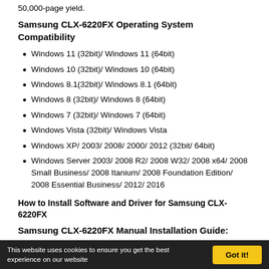50,000-page yield.
Samsung CLX-6220FX Operating System Compatibility
Windows 11 (32bit)/ Windows 11 (64bit)
Windows 10 (32bit)/ Windows 10 (64bit)
Windows 8.1(32bit)/ Windows 8.1 (64bit)
Windows 8 (32bit)/ Windows 8 (64bit)
Windows 7 (32bit)/ Windows 7 (64bit)
Windows Vista (32bit)/ Windows Vista
Windows XP/ 2003/ 2008/ 2000/ 2012 (32bit/ 64bit)
Windows Server 2003/ 2008 R2/ 2008 W32/ 2008 x64/ 2008 Small Business/ 2008 Itanium/ 2008 Foundation Edition/ 2008 Essential Business/ 2012/ 2016
How to Install Software and Driver for Samsung CLX-6220FX
Samsung CLX-6220FX Manual Installation Guide:
For your printer to work correctly, the driver for the printer must set up first. You must follow the guide provided below on a device running on
This website uses cookies to ensure you get the best experience on our website